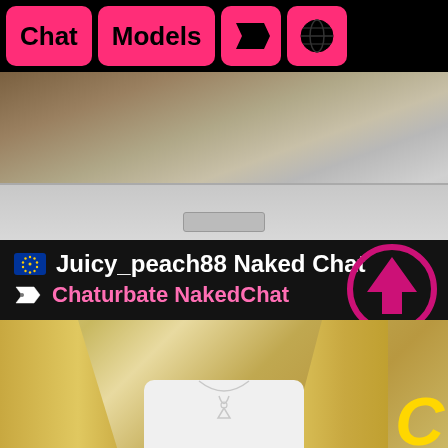[Figure (screenshot): Mobile app navigation bar with pink buttons: Chat, Models, tag icon, globe icon]
[Figure (photo): Top photo showing a laptop screen with blurred content]
Juicy_peach88 Naked Chat
Chaturbate NakedChat
[Figure (photo): Bottom photo showing a blonde woman wearing a white shirt and necklace, with a yellow C logo overlay]